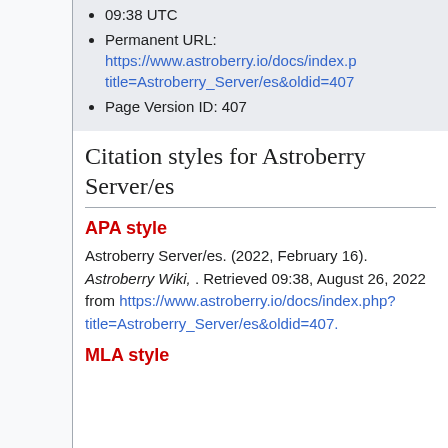09:38 UTC
Permanent URL: https://www.astroberry.io/docs/index.php?title=Astroberry_Server/es&oldid=407
Page Version ID: 407
Citation styles for Astroberry Server/es
APA style
Astroberry Server/es. (2022, February 16). Astroberry Wiki, . Retrieved 09:38, August 26, 2022 from https://www.astroberry.io/docs/index.php?title=Astroberry_Server/es&oldid=407.
MLA style